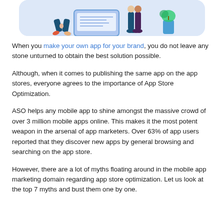[Figure (illustration): Illustration of people working with a large tablet/screen, shown from the waist down with colorful clothing on a light blue rounded background.]
When you make your own app for your brand, you do not leave any stone unturned to obtain the best solution possible.
Although, when it comes to publishing the same app on the app stores, everyone agrees to the importance of App Store Optimization.
ASO helps any mobile app to shine amongst the massive crowd of over 3 million mobile apps online. This makes it the most potent weapon in the arsenal of app marketers. Over 63% of app users reported that they discover new apps by general browsing and searching on the app store.
However, there are a lot of myths floating around in the mobile app marketing domain regarding app store optimization. Let us look at the top 7 myths and bust them one by one.